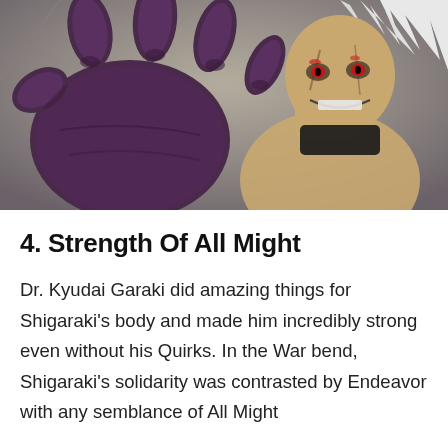[Figure (illustration): Anime illustration of a muscular villain character (Shigaraki/similar) with white hair, scarred face, and a large dark purple hand reaching toward the viewer, set against a grayish-brown background.]
4. Strength Of All Might
Dr. Kyudai Garaki did amazing things for Shigaraki's body and made him incredibly strong even without his Quirks. In the War bend, Shigaraki's solidarity was contrasted by Endeavor with any semblance of All Might